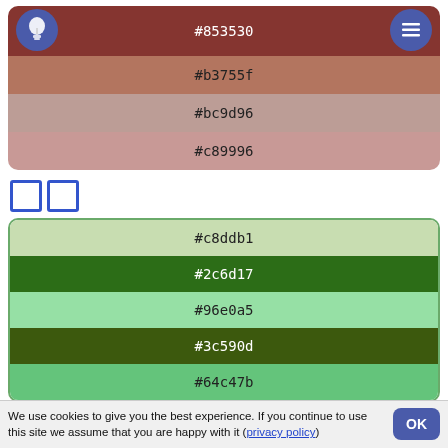[Figure (infographic): Color palette swatches showing hex codes: #853530, #b3755f, #bc9d96, #c89996 with lightbulb and menu icons]
□□
[Figure (infographic): Color palette swatches showing hex codes: #c8ddb1, #2c6d17, #96e0a5, #3c590d, #64c47b]
□□
We use cookies to give you the best experience. If you continue to use this site we assume that you are happy with it (privacy policy)